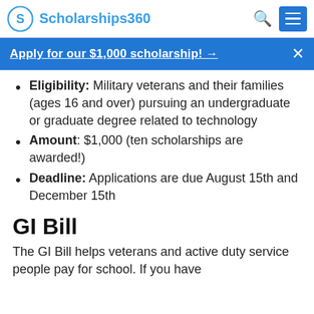Scholarships360
Apply for our $1,000 scholarship! →
Eligibility: Military veterans and their families (ages 16 and over) pursuing an undergraduate or graduate degree related to technology
Amount: $1,000 (ten scholarships are awarded!)
Deadline: Applications are due August 15th and December 15th
GI Bill
The GI Bill helps veterans and active duty service people pay for school. If you have